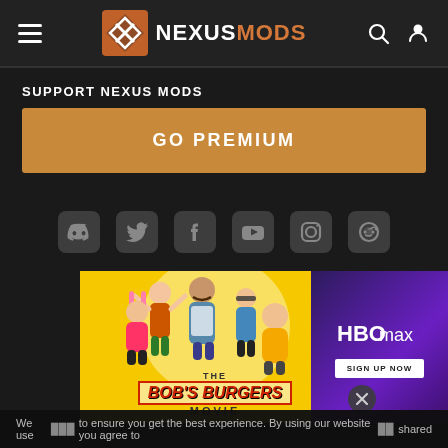NEXUSMODS
SUPPORT NEXUS MODS
GO PREMIUM
[Figure (infographic): Social media icons row: Discord, Twitter, Facebook, YouTube, Instagram, Reddit]
[Figure (photo): Bob's Burgers Movie advertisement banner on yellow background with cartoon characters]
[Figure (photo): HBO Max Sign Up Now advertisement banner on purple gradient background]
We use cookies to ensure you get the best experience. By using our website you agree to be shared